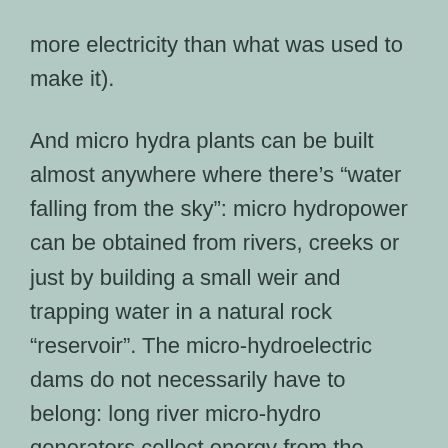more electricity than what was used to make it).
And micro hydra plants can be built almost anywhere where there’s “water falling from the sky”: micro hydropower can be obtained from rivers, creeks or just by building a small weir and trapping water in a natural rock “reservoir”. The micro-hydroelectric dams do not necessarily have to belong: long river micro-hydro generators collect energy from the whole water stream, so micro-hydro generators don’t need large amounts of falling water.